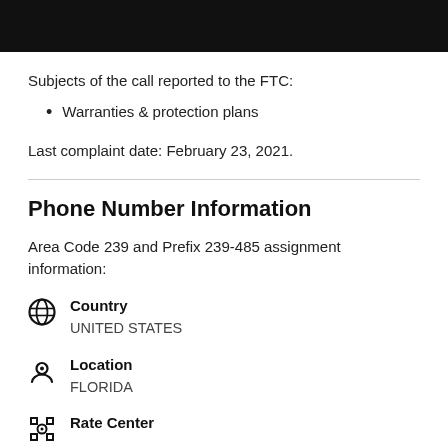[Figure (photo): Dark photo bar at top of page]
Subjects of the call reported to the FTC:
Warranties & protection plans
Last complaint date: February 23, 2021.
Phone Number Information
Area Code 239 and Prefix 239-485 assignment information:
Country
UNITED STATES
Location
FLORIDA
Rate Center